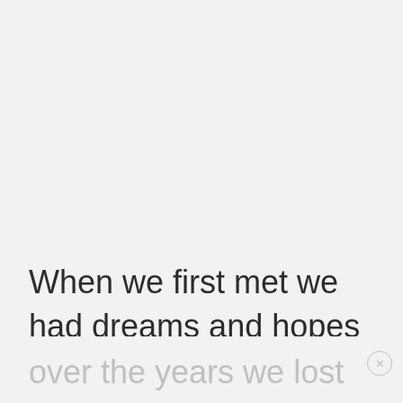When we first met we had dreams and hopes and were active and vibrant people, but
over the years we lost that